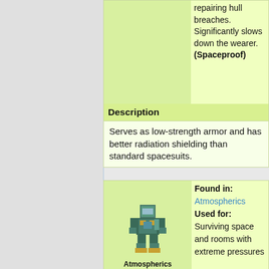repairing hull breaches. Significantly slows down the wearer. (Spaceproof)
Description
Serves as low-strength armor and has better radiation shielding than standard spacesuits.
Found in: Atmospherics
Used for: Surviving space and rooms with extreme pressures
[Figure (illustration): Pixel art sprite of an Atmospherics suit character standing upright]
Atmospherics